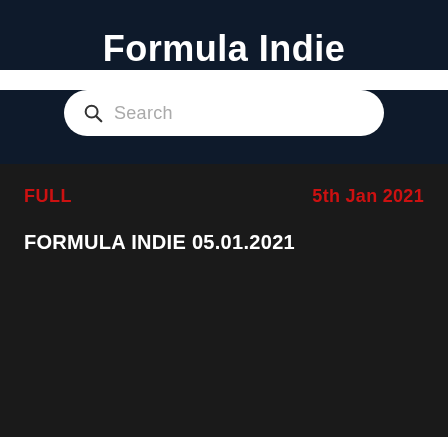Formula Indie
[Figure (screenshot): Search bar with magnifying glass icon and placeholder text 'Search']
FULL	5th Jan 2021
FORMULA INDIE 05.01.2021